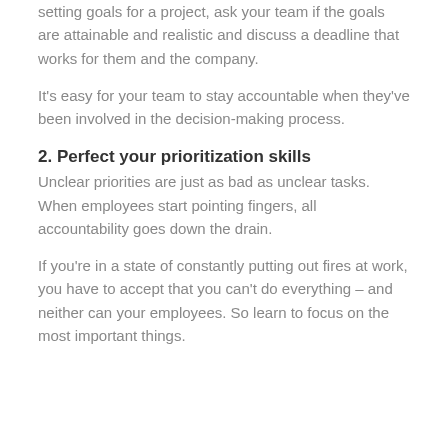setting goals for a project, ask your team if the goals are attainable and realistic and discuss a deadline that works for them and the company.
It's easy for your team to stay accountable when they've been involved in the decision-making process.
2. Perfect your prioritization skills
Unclear priorities are just as bad as unclear tasks. When employees start pointing fingers, all accountability goes down the drain.
If you're in a state of constantly putting out fires at work, you have to accept that you can't do everything – and neither can your employees. So learn to focus on the most important things.